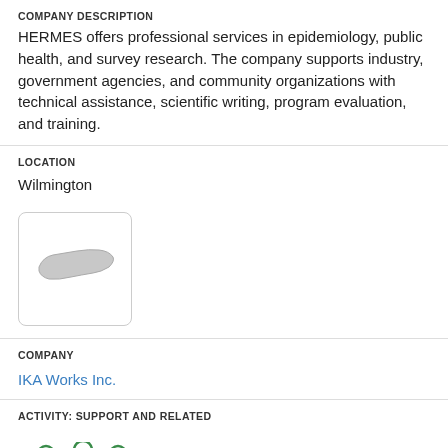COMPANY DESCRIPTION
HERMES offers professional services in epidemiology, public health, and survey research. The company supports industry, government agencies, and community organizations with technical assistance, scientific writing, program evaluation, and training.
LOCATION
Wilmington
[Figure (map): Map thumbnail showing outline of North Carolina state]
COMPANY
IKA Works Inc.
ACTIVITY: SUPPORT AND RELATED
[Figure (illustration): Green icon of three people figures representing support activity]